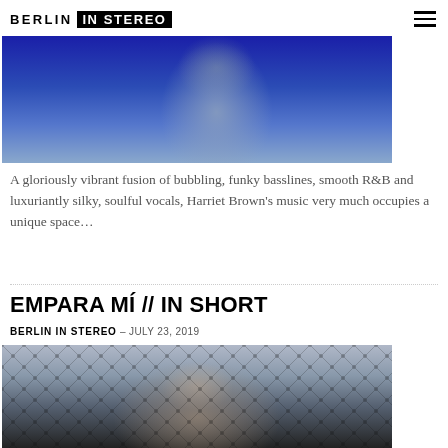BERLIN IN STEREO
[Figure (photo): Blue-toned photo of a person, upper body, blue background]
A gloriously vibrant fusion of bubbling, funky basslines, smooth R&B and luxuriantly silky, soulful vocals, Harriet Brown's music very much occupies a unique space...
EMPARA MÍ // IN SHORT
BERLIN IN STEREO – JULY 23, 2019
[Figure (photo): Close-up photo of a woman's face with a dark net/veil over it, looking upward]